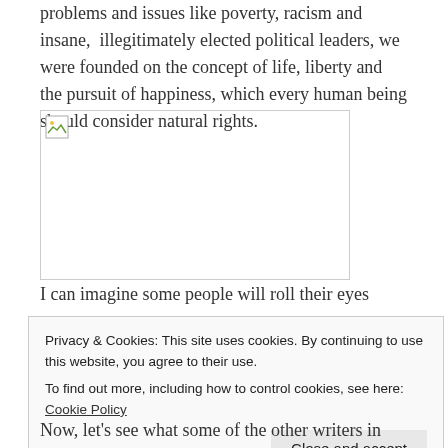problems and issues like poverty, racism and insane,  illegitimately elected political leaders, we were founded on the concept of life, liberty and the pursuit of happiness, which every human being should consider natural rights.
[Figure (photo): Broken image placeholder with small icon in top-left corner]
I can imagine some people will roll their eyes
Privacy & Cookies: This site uses cookies. By continuing to use this website, you agree to their use.
To find out more, including how to control cookies, see here: Cookie Policy

Close and accept
Now, let's see what some of the other writers in